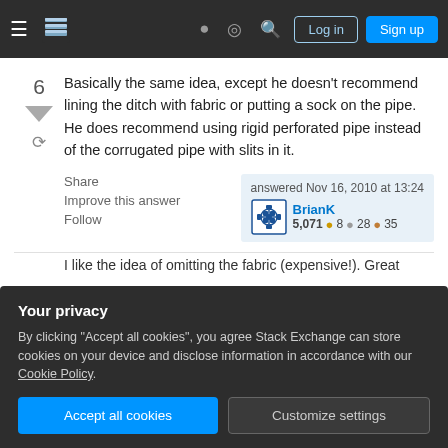Stack Exchange navigation bar with Log in and Sign up buttons
Basically the same idea, except he doesn't recommend lining the ditch with fabric or putting a sock on the pipe. He does recommend using rigid perforated pipe instead of the corrugated pipe with slits in it.
Share  Improve this answer  Follow  answered Nov 16, 2010 at 13:24  BrianK  5,071 ●8 ●28 ●35
I like the idea of omitting the fabric (expensive!). Great
Sep 24, 2011 at 13:38
Your privacy
By clicking "Accept all cookies", you agree Stack Exchange can store cookies on your device and disclose information in accordance with our Cookie Policy.
Accept all cookies  Customize settings